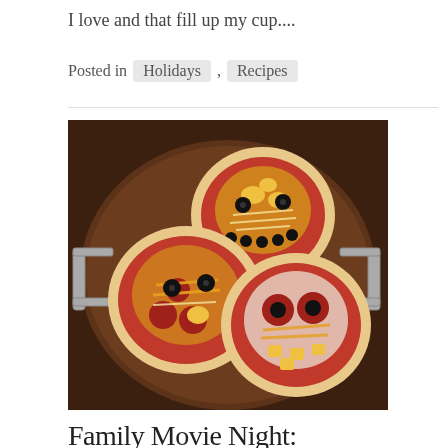I love and that fill up my cup....
Posted in  Holidays ,  Recipes
[Figure (photo): Three round mini pizzas decorated like owl faces with toppings including pepperoni, shredded cheese, black olives, and pineapple chunks arranged on a circular wooden serving board with metal handles.]
Family Movie Night: